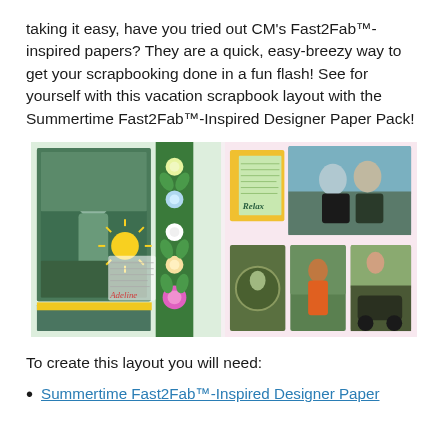taking it easy, have you tried out CM's Fast2Fab™-inspired papers? They are a quick, easy-breezy way to get your scrapbooking done in a fun flash! See for yourself with this vacation scrapbook layout with the Summertime Fast2Fab™-Inspired Designer Paper Pack!
[Figure (photo): A two-page vacation scrapbook layout featuring tropical flowers, green foliage border, photos of people outdoors and relaxing, with decorative elements and handwritten journaling. Left page has a large portrait photo, floral border strip, and sun embellishment. Right page has multiple smaller vacation photos arranged in a grid with dotted corner accents and a 'Relax' title card.]
To create this layout you will need:
Summertime Fast2Fab™-Inspired Designer Paper